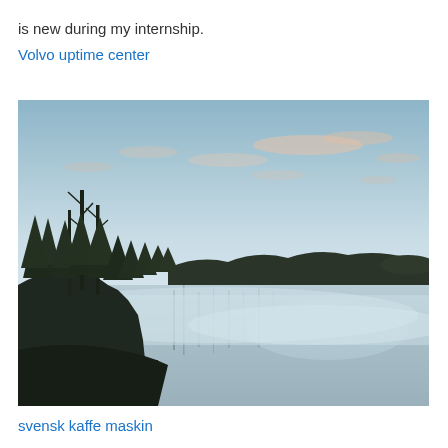is new during my internship.
Volvo uptime center
[Figure (photo): A misty lake at dawn or dusk with dark conifer trees on the left and along the far shoreline, reflected in calm water with low-lying fog, and a pale blue sky with scattered clouds.]
svensk kaffe maskin